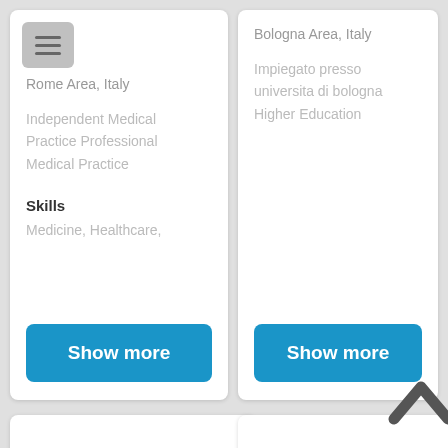[Figure (screenshot): Menu icon (hamburger) in top-left of left card]
Rome Area, Italy
Independent Medical Practice Professional Medical Practice
Skills
Medicine, Healthcare,
Show more
Bologna Area, Italy
Impiegato presso universita di bologna Higher Education
Show more
Riccardo Venturini
Riccardo Venturini